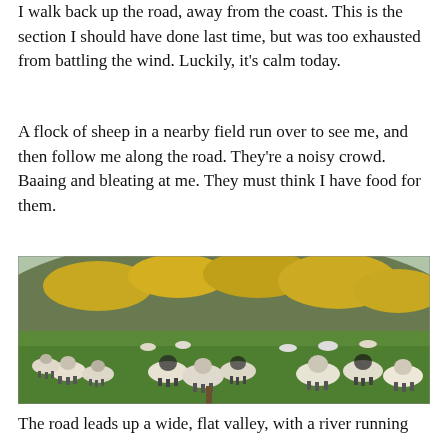I walk back up the road, away from the coast. This is the section I should have done last time, but was too exhausted from battling the wind. Luckily, it's calm today.
A flock of sheep in a nearby field run over to see me, and then follow me along the road. They're a noisy crowd. Baaing and bleating at me. They must think I have food for them.
[Figure (photo): A flock of sheep in a green field with a hillside covered in yellow gorse bushes in the background. Many sheep of various sizes are scattered across the grass, some walking, some standing.]
The road leads up a wide, flat valley, with a river running